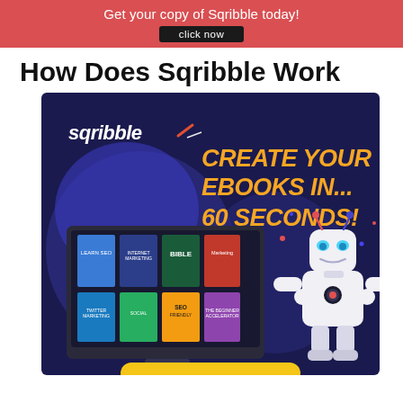Get your copy of Sqribble today! click now
How Does Sqribble Work
[Figure (illustration): Sqribble software promotional banner showing a dark navy background with 'sqribble' logo top left, large orange bold text reading 'CREATE YOUR EBOOKS IN... 60 SECONDS!', a monitor displaying ebook covers, and a white robot character on the right side. A yellow button is partially visible at the bottom.]